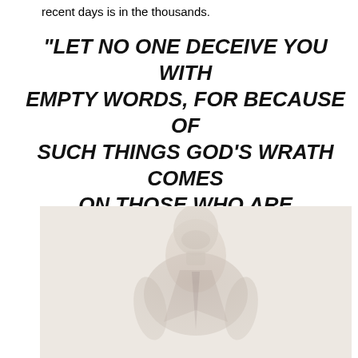recent days is in the thousands.
“LET NO ONE DECEIVE YOU WITH EMPTY WORDS, FOR BECAUSE OF SUCH THINGS GOD’S WRATH COMES ON THOSE WHO ARE DISOBEDIENT” EPH. 5-6 ESV
[Figure (photo): Faded black and white photo of a man in a suit, looking upward, appearing to speak at a podium or event.]